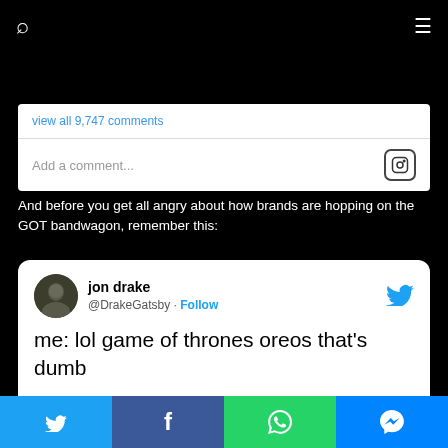search icon | menu icon
view all 9,747 comments
Add a comment...
And before you get all angry about how brands are hopping on the GOT bandwagon, remember this:
[Figure (screenshot): Embedded tweet from @DrakeGatsby (jon drake): 'me: lol game of thrones oreos that's dumb [45 minutes later at the grocery store] me: *visibly agitated* yeah ok but do you know when ur getting more']
Twitter share | Facebook share | WhatsApp share | Messenger share